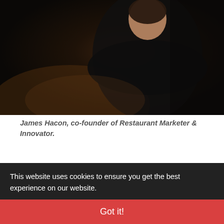[Figure (photo): Photo of James Hacon, a man in dark clothing with arms crossed, dark background with warm ambient lighting]
James Hacon, co-founder of Restaurant Marketer & Innovator.
Other Articles You May Be Interested In
Autumn 2019 - Editors welcome by James Hacon
Summer 2019 - Editors welcome by James Hacon
Spring 2019 - Editors welcome by James Hacon
Summer 2018 - Editors welcome by James Hacon
This website uses cookies to ensure you get the best experience on our website.
Got it!